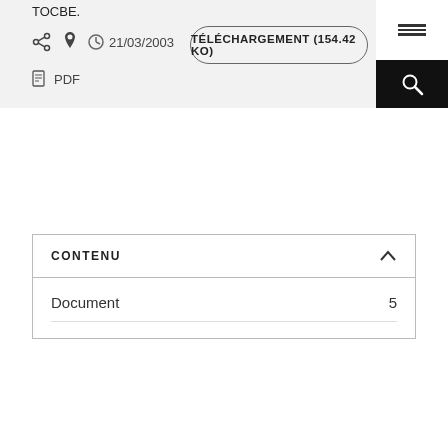TOCBE.
21/03/2003
TÉLÉCHARGEMENT (154.42 KO)
PDF
CONTENU
Document  5
THÈMES